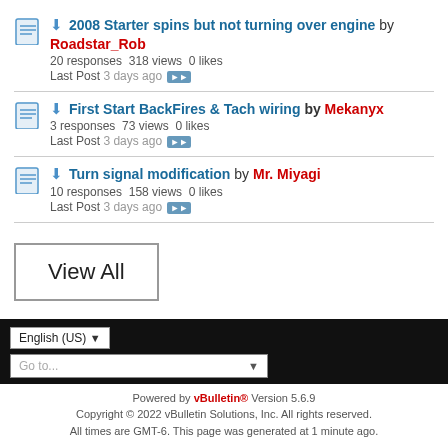2008 Starter spins but not turning over engine by Roadstar_Rob — 20 responses 318 views 0 likes — Last Post 3 days ago
First Start BackFires & Tach wiring by Mekanyx — 3 responses 73 views 0 likes — Last Post 3 days ago
Turn signal modification by Mr. Miyagi — 10 responses 158 views 0 likes — Last Post 3 days ago
View All
English (US)
Go to...
Powered by vBulletin® Version 5.6.9 Copyright © 2022 vBulletin Solutions, Inc. All rights reserved. All times are GMT-6. This page was generated at 1 minute ago.